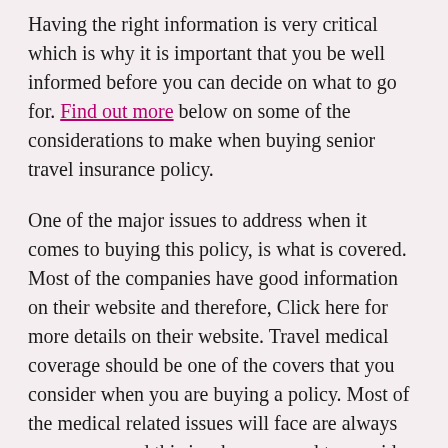Having the right information is very critical which is why it is important that you be well informed before you can decide on what to go for. Find out more below on some of the considerations to make when buying senior travel insurance policy.
One of the major issues to address when it comes to buying this policy, is what is covered. Most of the companies have good information on their website and therefore, Click here for more details on their website. Travel medical coverage should be one of the covers that you consider when you are buying a policy. Most of the medical related issues will face are always emergency and this is why you need to consider a Medical Travel Insurance cover. You want regular checks when it comes to issues like cardiovascular issues, joints and muscle pains, as well as general checkup. You also want to know how much you are covered. Also asked the provider about pre-existing